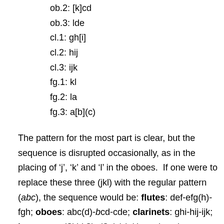ob.2:  [k]cd
ob.3:  lde
cl.1:  gh[i]
cl.2: hij
cl.3: ijk
fg.1:  kl
fg.2: la
fg.3: a[b](c)
The pattern for the most part is clear, but the sequence is disrupted occasionally, as in the placing of ‘j’, ‘k’ and ‘l’ in the oboes.  If one were to replace these three (jkl) with the regular pattern (abc), the sequence would be: flutes: def-efg(h)-fgh; oboes: abc(d)-bcd-cde; clarinets: ghi-hij-ijk; bassoons: j?kl-k?la-l?ab(c) (these last three start later so putatively are each missing their first motif).  All the possible ‘forward’ combinations of the 12 letters in batches